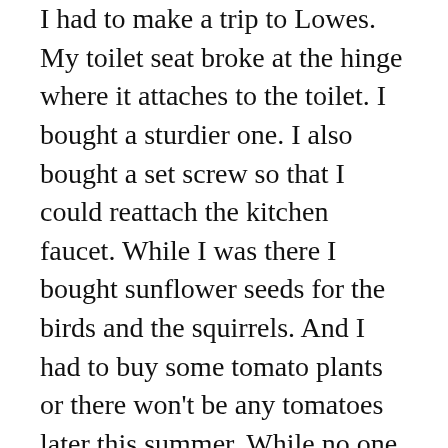I had to make a trip to Lowes. My toilet seat broke at the hinge where it attaches to the toilet. I bought a sturdier one. I also bought a set screw so that I could reattach the kitchen faucet. While I was there I bought sunflower seeds for the birds and the squirrels. And I had to buy some tomato plants or there won't be any tomatoes later this summer. While no one of these purchases necessarily constituted an essential trip, taken together I think that they did. They made our lives considerably more pleasant anyway.
And then there is the stage that we are coming into now where it is becoming obvious that we are going to be practicing most of these preventative practices to some degree or